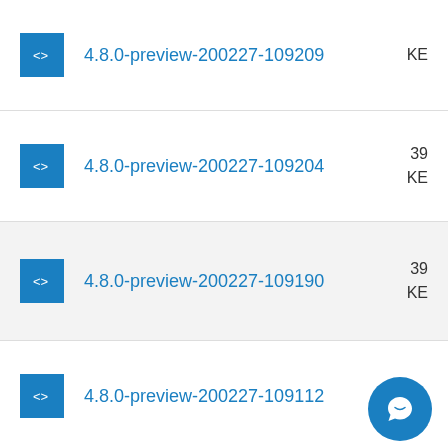4.8.0-preview-200227-109209
4.8.0-preview-200227-109204
4.8.0-preview-200227-109190
4.8.0-preview-200227-109112